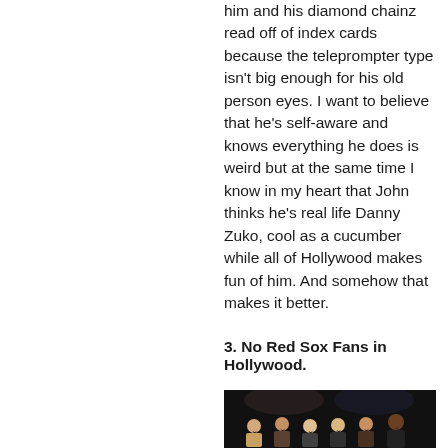him and his diamond chainz read off of index cards because the teleprompter type isn't big enough for his old person eyes. I want to believe that he's self-aware and knows everything he does is weird but at the same time I know in my heart that John thinks he's real life Danny Zuko, cool as a cucumber while all of Hollywood makes fun of him. And somehow that makes it better.
3. No Red Sox Fans in Hollywood.
[Figure (photo): Group photo of several people smiling, appearing to be at an entertainment event, dark background]